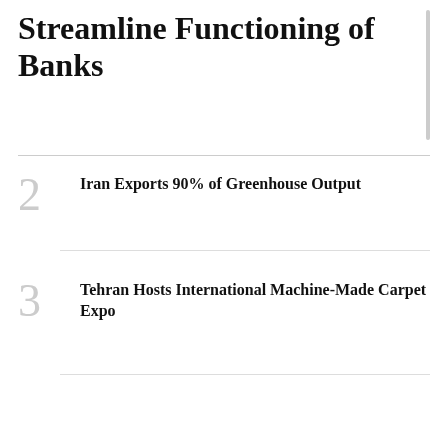Streamline Functioning of Banks
2  Iran Exports 90% of Greenhouse Output
3  Tehran Hosts International Machine-Made Carpet Expo
4  Tehran Has Other Options If Nuclear Talks Fail
5  🔒 Business Delegation From Belarus to Visit Tehran This Week
6  🔒 Khorasan Razavi Steel Mills Harnessing Reclaimed